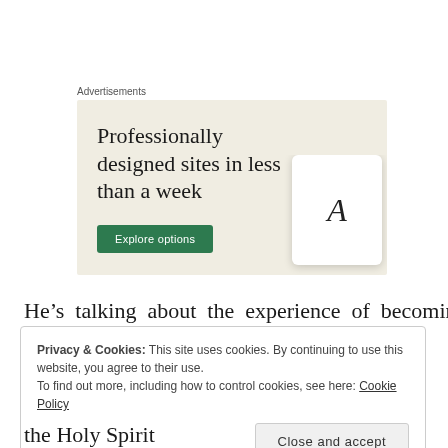Advertisements
[Figure (illustration): Advertisement banner with beige background showing text 'Professionally designed sites in less than a week' with a green 'Explore options' button and a mock device/tablet image on the right.]
He’s talking about the experience of becoming a
Privacy & Cookies: This site uses cookies. By continuing to use this website, you agree to their use.
To find out more, including how to control cookies, see here: Cookie Policy
Close and accept
the Holy Spirit